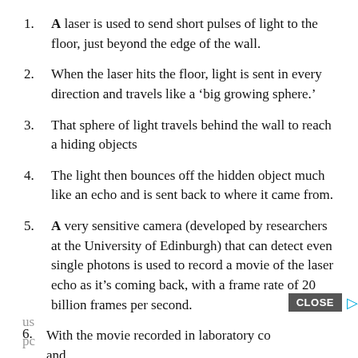A laser is used to send short pulses of light to the floor, just beyond the edge of the wall.
When the laser hits the floor, light is sent in every direction and travels like a ‘big growing sphere.’
That sphere of light travels behind the wall to reach a hiding objects
The light then bounces off the hidden object much like an echo and is sent back to where it came from.
A very sensitive camera (developed by researchers at the University of Edinburgh) that can detect even single photons is used to record a movie of the laser echo as it’s coming back, with a frame rate of 20 billion frames per second.
With the movie recorded in laboratory con[CLOSE]s and